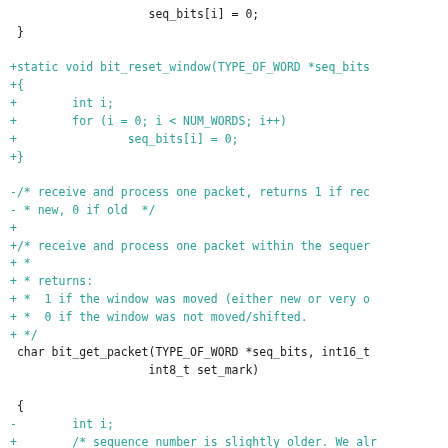Code diff showing bit_reset_window function addition and bit_get_packet function modification in C source code